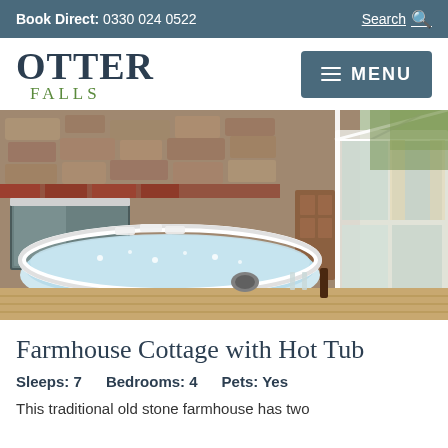Book Direct: 0330 024 0522   Search
[Figure (logo): Otter Falls logo with text OTTER FALLS in serif font, and a dark teal MENU button with hamburger icon]
[Figure (photo): Outdoor hot tub on a wooden deck in front of a traditional stone farmhouse with a white conservatory/greenhouse extension]
Farmhouse Cottage with Hot Tub
Sleeps: 7    Bedrooms: 4    Pets: Yes
This traditional old stone farmhouse has two